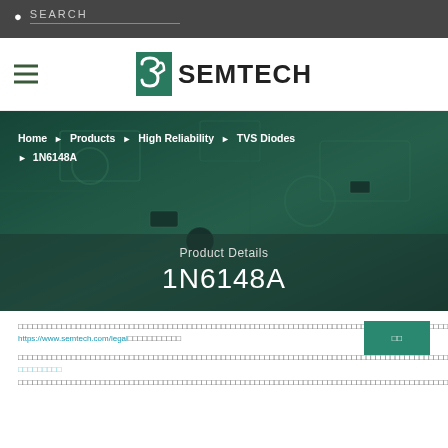SEARCH
[Figure (logo): Semtech logo with stylized S and SEMTECH text]
[Figure (photo): Circuit board background image with breadcrumb navigation: Home > Products > High Reliability > TVS Diodes > 1N6148A, and hero text 'Product Details' and '1N6148A']
Cookie/legal notice text with link to https://www.semtech.com/legal
Additional body text with hyperlink